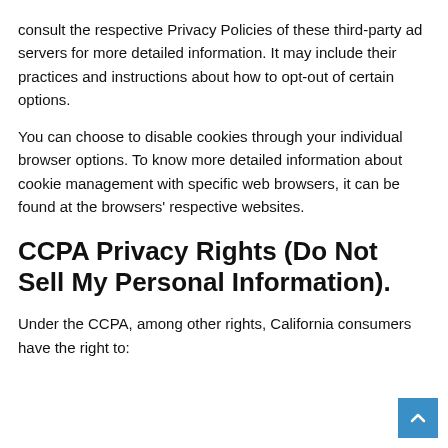consult the respective Privacy Policies of these third-party ad servers for more detailed information. It may include their practices and instructions about how to opt-out of certain options.
You can choose to disable cookies through your individual browser options. To know more detailed information about cookie management with specific web browsers, it can be found at the browsers' respective websites.
CCPA Privacy Rights (Do Not Sell My Personal Information).
Under the CCPA, among other rights, California consumers have the right to: